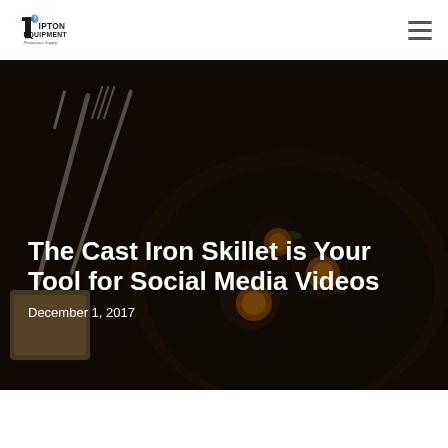[Figure (logo): Tipton Equipment Restaurant Supply logo — stylized T with a drink, text reads TIPTON EQUIPMENT Restaurant Supply]
[Figure (photo): Dark overhead photo of a cast iron skillet with fried eggs and herbs, with silverware (knife and fork) on a wooden surface beside toast]
The Cast Iron Skillet is Your Tool for Social Media Videos
December 1, 2017